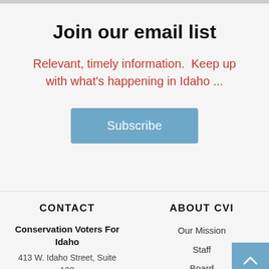Join our email list
Relevant, timely information.  Keep up with what's happening in Idaho ...
[Figure (other): Subscribe button - blue rectangular button with white text reading 'Subscribe']
CONTACT
ABOUT CVI
Conservation Voters For Idaho
413 W. Idaho Street, Suite 100
Our Mission
Staff
Board